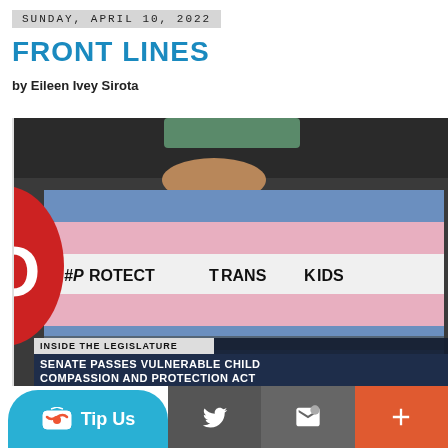SUNDAY, APRIL 10, 2022
FRONT LINES
by Eileen Ivey Sirota
[Figure (photo): Person holding a transgender pride flag sign reading '#PROTECT TRANS KIDS' with a TV news chyron overlay reading 'INSIDE THE LEGISLATURE / SENATE PASSES VULNERABLE CHILD COMPASSION AND PROTECTION ACT']
Tip Us | Twitter | Email | +